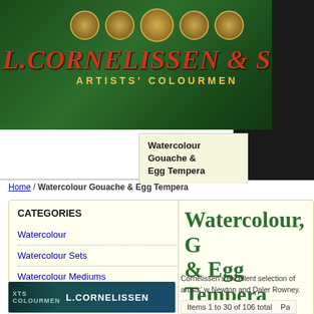[Figure (logo): L. Cornelissen & Son Artists' Colourmen website header with dark green background, gold medallion badges, red italic brand name, and gold subtitle text]
Watercolour Gouache & Egg Tempera
Home / Watercolour Gouache & Egg Tempera
CATEGORIES
Watercolour
Watercolour Sets
Watercolour Mediums
Gouache
Egg Tempera
Accessories
Watercolour, G & Egg Tempera
Cornelissen's excellent selection of artists' w Newton and Daler Rowney. Watercolour me finishes. Our ranges of gouache and egg te painting techniques. Accessories include en
[Figure (photo): Bottom strip showing L. Cornelissen shop sign with dark teal background]
Items 1 to 30 of 106 total